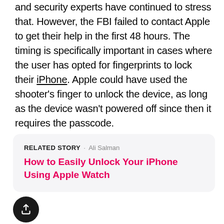and security experts have continued to stress that. However, the FBI failed to contact Apple to get their help in the first 48 hours. The timing is specifically important in cases where the user has opted for fingerprints to lock their iPhone. Apple could have used the shooter's finger to unlock the device, as long as the device wasn't powered off since then it requires the passcode.
RELATED STORY · Ali Salman
How to Easily Unlock Your iPhone Using Apple Watch